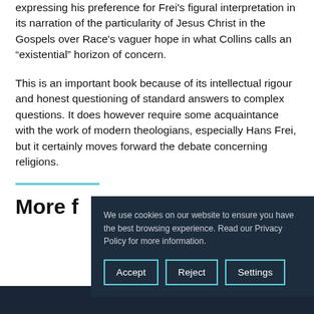expressing his preference for Frei's figural interpretation in its narration of the particularity of Jesus Christ in the Gospels over Race's vaguer hope in what Collins calls an “existential” horizon of concern.
This is an important book because of its intellectual rigour and honest questioning of standard answers to complex questions. It does however require some acquaintance with the work of modern theologians, especially Hans Frei, but it certainly moves forward the debate concerning religions.
More f
We use cookies on our website to ensure you have the best browsing experience. Read our Privacy Policy for more information.